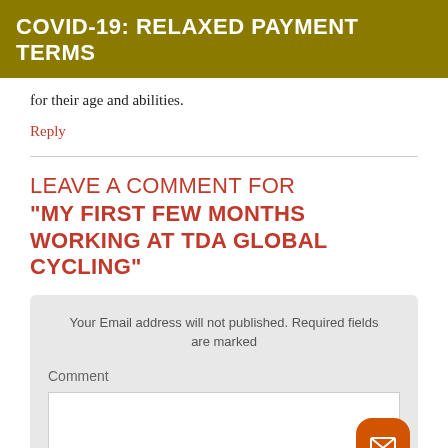COVID-19: RELAXED PAYMENT TERMS
for their age and abilities.
Reply
LEAVE A COMMENT FOR "MY FIRST FEW MONTHS WORKING AT TDA GLOBAL CYCLING"
Your Email address will not published. Required fields are marked
Comment